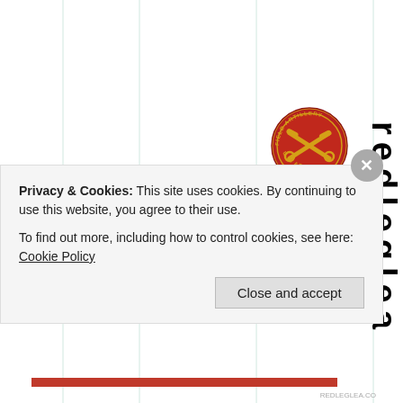[Figure (logo): U.S. Army Field Artillery circular badge/emblem, red with crossed cannons in gold]
redleglea
Privacy & Cookies: This site uses cookies. By continuing to use this website, you agree to their use.
To find out more, including how to control cookies, see here: Cookie Policy
Close and accept